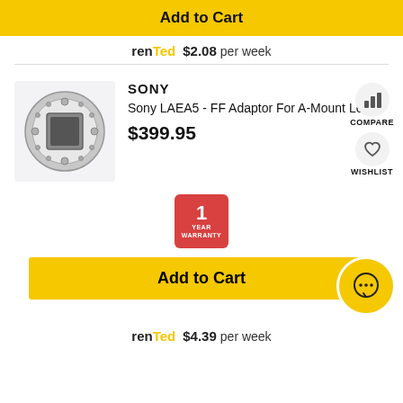Add to Cart
renTed $2.08 per week
SONY
Sony LAEA5 - FF Adaptor For A-Mount Lens
$399.95
[Figure (photo): Photo of Sony LAEA5 FF A-Mount lens adapter, circular silver/metal ring adapter viewed from front]
COMPARE
WISHLIST
[Figure (infographic): 1 YEAR WARRANTY badge in red]
Add to Cart
renTed $4.39 per week